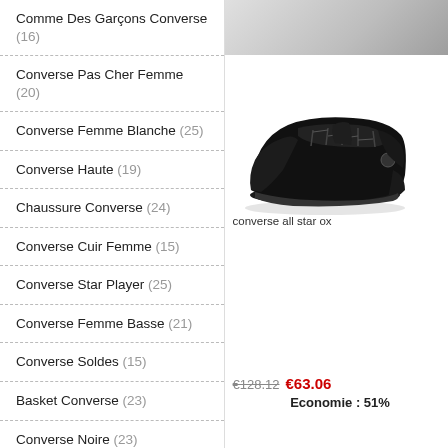Comme Des Garçons Converse (16)
Converse Pas Cher Femme (20)
Converse Femme Blanche (25)
Converse Haute (19)
Chaussure Converse (24)
Converse Cuir Femme (15)
Converse Star Player (25)
Converse Femme Basse (21)
Converse Soldes (15)
Basket Converse (23)
Converse Noire (23)
All Star Converse (25)
Converse One Star (22)
Converse Rose (25)
Converse All Star Femme (18)
[Figure (photo): Black Converse all star ox low-top sneaker, viewed from the side]
converse all star ox
€128.12  €63.06
Economie : 51%